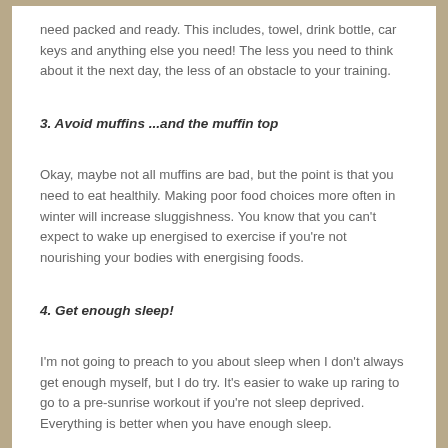need packed and ready. This includes, towel, drink bottle, car keys and anything else you need! The less you need to think about it the next day, the less of an obstacle to your training.
3. Avoid muffins ...and the muffin top
Okay, maybe not all muffins are bad, but the point is that you need to eat healthily. Making poor food choices more often in winter will increase sluggishness. You know that you can't expect to wake up energised to exercise if you're not nourishing your bodies with energising foods.
4. Get enough sleep!
I'm not going to preach to you about sleep when I don't always get enough myself, but I do try. It's easier to wake up raring to go to a pre-sunrise workout if you're not sleep deprived. Everything is better when you have enough sleep.